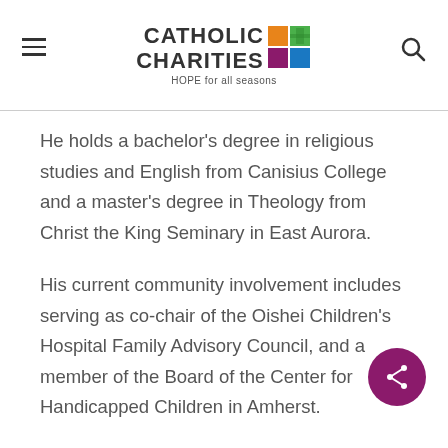Catholic Charities — HOPE for all seasons
He holds a bachelor's degree in religious studies and English from Canisius College and a master's degree in Theology from Christ the King Seminary in East Aurora.
His current community involvement includes serving as co-chair of the Oishei Children's Hospital Family Advisory Council, and a member of the Board of the Center for Handicapped Children in Amherst.
A resident of Williamsville, Tim and his wife Valerie and family are long-time members of